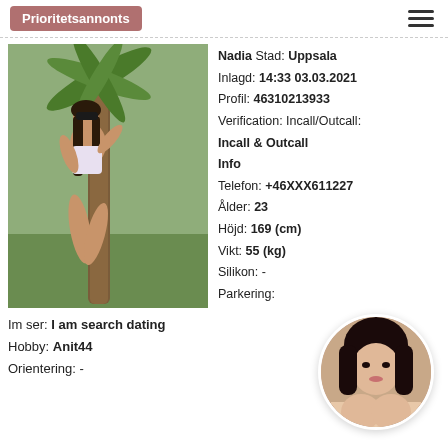Prioritetsannonts
[Figure (photo): Young woman in white swimsuit leaning against a palm tree outdoors]
Nadia Stad: Uppsala
Inlagd: 14:33 03.03.2021
Profil: 46310213933
Verification: Incall/Outcall:
Incall & Outcall
Info
Telefon: +46XXX611227
Ålder: 23
Höjd: 169 (cm)
Vikt: 55 (kg)
Silikon: -
Parkering:
Im ser: I am search dating
Hobby: Anit44
Orientering: -
[Figure (photo): Circular thumbnail photo of a dark-haired woman]